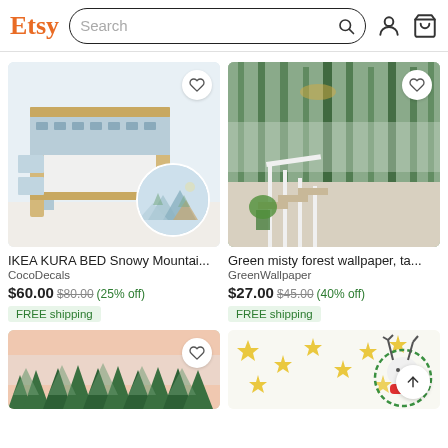Etsy Search
[Figure (screenshot): IKEA KURA BED with snowy mountain decals product image showing bunk bed with blue mountain pattern wallpaper and circular swatch detail]
IKEA KURA BED Snowy Mountai...
CocoDecals
$60.00 $80.00 (25% off)
FREE shipping
[Figure (screenshot): Green misty forest wallpaper mural on staircase wall showing tall green trees in fog]
Green misty forest wallpaper, ta...
GreenWallpaper
$27.00 $45.00 (40% off)
FREE shipping
[Figure (screenshot): Watercolor pine tree forest wallpaper mural with pink sky background]
[Figure (screenshot): Gold star wall decals with bunny character on white background]